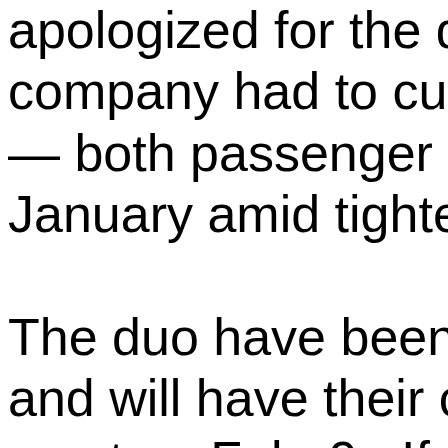apologized for the disru company had to cut bac — both passenger and January amid tightened v The duo have been relea and will have their cas court on Feb. 9. If co violating anti-epidemic r the would for